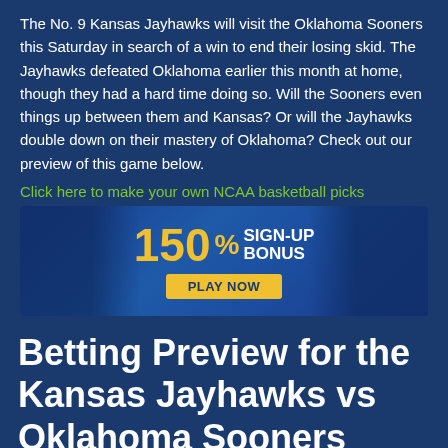The No. 9 Kansas Jayhawks will visit the Oklahoma Sooners this Saturday in search of a win to end their losing skid. The Jayhawks defeated Oklahoma earlier this month at home, though they had a hard time doing so. Will the Sooners even things up between them and Kansas? Or will the Jayhawks double down on their mastery of Oklahoma? Check out our preview of this game below.
Click here to make your own NCAA basketball picks
[Figure (infographic): Advertisement banner: 150% SIGN-UP BONUS with PLAY NOW button, basketball players in background]
Betting Preview for the Kansas Jayhawks vs Oklahoma Sooners NCAA College